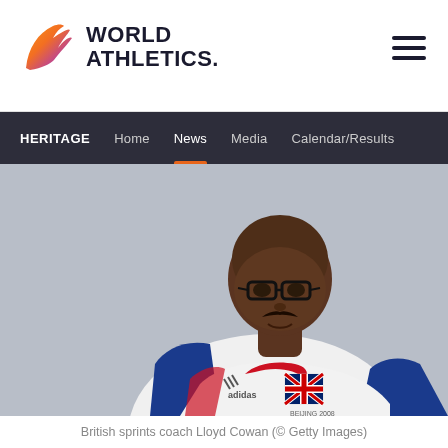[Figure (logo): World Athletics logo with flame-shaped gradient icon and bold text 'WORLD ATHLETICS.']
HERITAGE  Home  News  Media  Calendar/Results
[Figure (photo): British sprints coach Lloyd Cowan wearing a white Great Britain athletics tracksuit with red and blue trim, Team GB badge and Adidas logo visible. He is bald, wearing glasses, and smiling. Photo credit: Getty Images.]
British sprints coach Lloyd Cowan (© Getty Images)